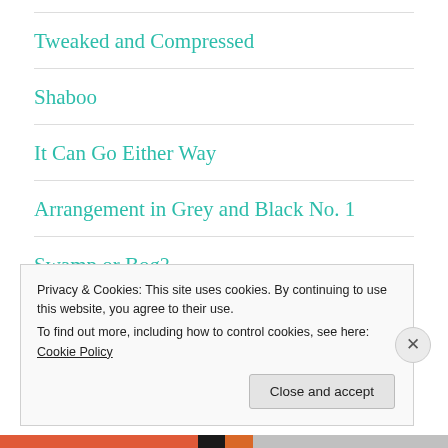Tweaked and Compressed
Shaboo
It Can Go Either Way
Arrangement in Grey and Black No. 1
Swamp or Bog?
Privacy & Cookies: This site uses cookies. By continuing to use this website, you agree to their use.
To find out more, including how to control cookies, see here: Cookie Policy
Close and accept